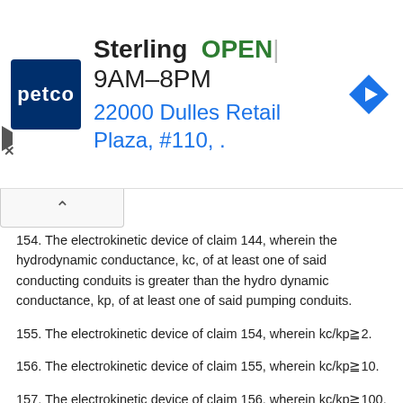[Figure (screenshot): Petco Sterling store advertisement banner showing store name, OPEN status, hours 9AM-8PM, address 22000 Dulles Retail Plaza #110, navigation icon, play button and close X controls]
154. The electrokinetic device of claim 144, wherein the hydrodynamic conductance, kc, of at least one of said conducting conduits is greater than the hydro dynamic conductance, kp, of at least one of said pumping conduits.
155. The electrokinetic device of claim 154, wherein kc/kp≧2.
156. The electrokinetic device of claim 155, wherein kc/kp≧10.
157. The electrokinetic device of claim 156, wherein kc/kp≧100.
158. The electrokinetic device of claim 157, wherein kc/kp≧1000.
159. The electrokinetic device of claim 158, wherein kc/kp≧10,000.
160. The electrokinetic device of claim 144, wherein the electrokinetic